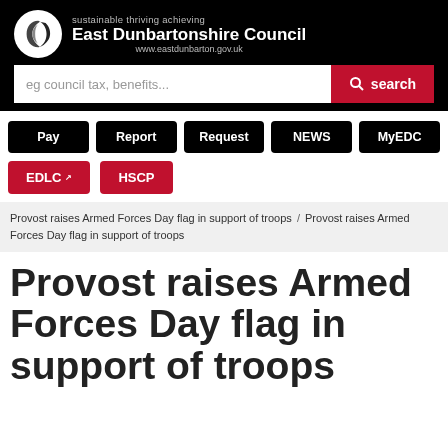East Dunbartonshire Council | sustainable thriving achieving | www.eastdunbarton.gov.uk
eg council tax, benefits... search
Pay
Report
Request
NEWS
MyEDC
EDLC
HSCP
Provost raises Armed Forces Day flag in support of troops / Provost raises Armed Forces Day flag in support of troops
Provost raises Armed Forces Day flag in support of troops